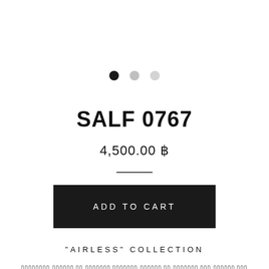[Figure (other): Three dots navigation indicator: one black filled circle, one medium gray circle, one light gray circle]
SALF 0767
4,500.00 ฿
ADD TO CART
"AIRLESS" COLLECTION
Thai language text description (product details in Thai script)